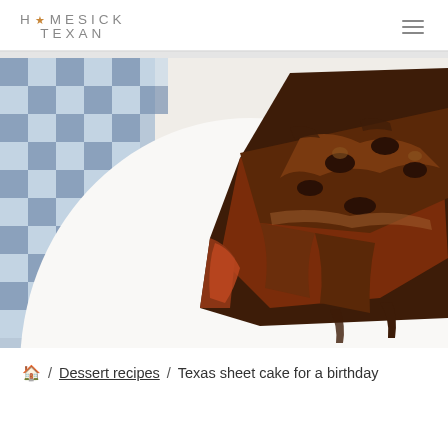HOMESICK TEXAN
[Figure (photo): Close-up photo of a slice of Texas sheet cake (chocolate brownie-like cake with chocolate frosting and chocolate chips) on a white plate, with a blue and white gingham checkered cloth/napkin visible in the background left.]
🏠 / Dessert recipes / Texas sheet cake for a birthday